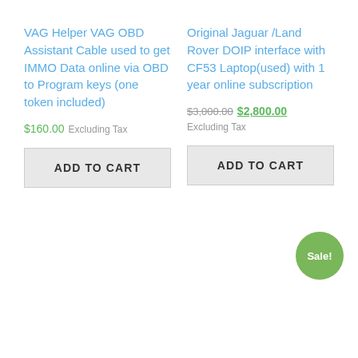VAG Helper VAG OBD Assistant Cable used to get IMMO Data online via OBD to Program keys (one token included)
$160.00 Excluding Tax
ADD TO CART
Original Jaguar /Land Rover DOIP interface with CF53 Laptop(used) with 1 year online subscription
$3,000.00 $2,800.00 Excluding Tax
ADD TO CART
Sale!